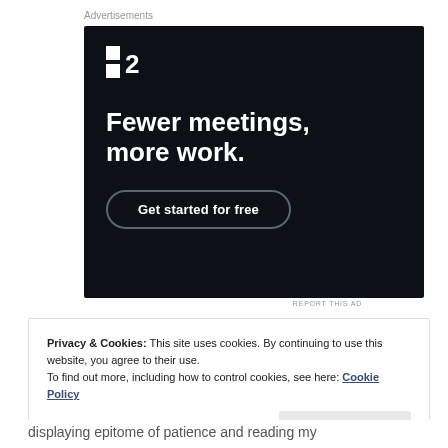Advertisements
[Figure (screenshot): Dark-background advertisement for F2 software. Shows the F2 logo (two squares and '2'), headline text 'Fewer meetings, more work.' and a 'Get started for free' call-to-action button with rounded border.]
REPORT THIS AD
Privacy & Cookies: This site uses cookies. By continuing to use this website, you agree to their use.
To find out more, including how to control cookies, see here: Cookie Policy
Close and accept
displaying epitome of patience and reading my